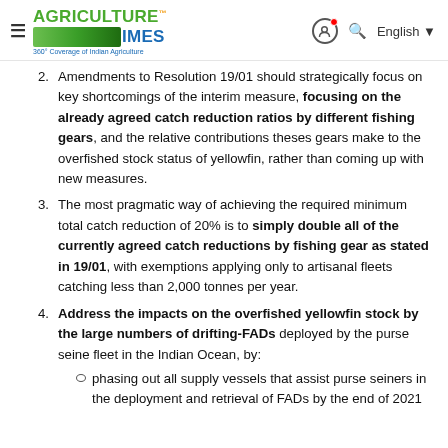Agriculture Times — 360° Coverage of Indian Agriculture
2. Amendments to Resolution 19/01 should strategically focus on key shortcomings of the interim measure, focusing on the already agreed catch reduction ratios by different fishing gears, and the relative contributions theses gears make to the overfished stock status of yellowfin, rather than coming up with new measures.
3. The most pragmatic way of achieving the required minimum total catch reduction of 20% is to simply double all of the currently agreed catch reductions by fishing gear as stated in 19/01, with exemptions applying only to artisanal fleets catching less than 2,000 tonnes per year.
4. Address the impacts on the overfished yellowfin stock by the large numbers of drifting-FADs deployed by the purse seine fleet in the Indian Ocean, by:
phasing out all supply vessels that assist purse seiners in the deployment and retrieval of FADs by the end of 2021